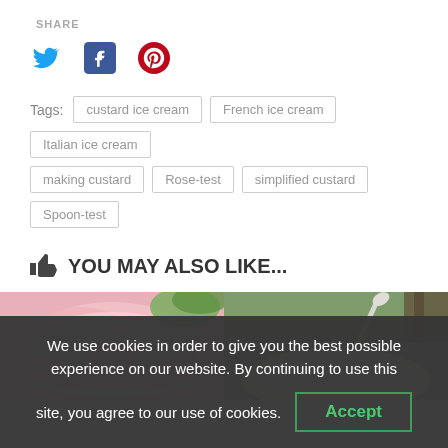SHARE
[Figure (illustration): Social media share icons: Twitter (blue bird), Facebook (blue f), Pinterest (red P)]
Tags: custard ice cream  French ice cream  Italian ice cream  making custard  Rose-test  simplified custard  Spoon-test
YOU MAY ALSO LIKE...
[Figure (photo): Two food photos side by side: left shows pink/strawberry ice cream in a bowl, right shows a white bowl with spoon outdoors]
We use cookies in order to give you the best possible experience on our website. By continuing to use this site, you agree to our use of cookies.
Accept